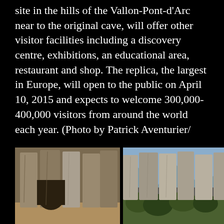site in the hills of the Vallon-Pont-d'Arc near to the original cave, will offer other visitor facilities including a discovery centre, exhibitions, an educational area, restaurant and shop. The replica, the largest in Europe, will open to the public on April 10, 2015 and expects to welcome 300,000-400,000 visitors from around the world each year. (Photo by Patrick Aventurier/
[Figure (photo): Three photographs of the Chauvet Cave replica exterior showing large stone-like sculpted facade structures. Left photo: stone columns with cave entrance, sandy ground. Middle photo: stone facade with vegetation below, mountains in background. Right photo: white cliff-like stone facade against blue sky.]